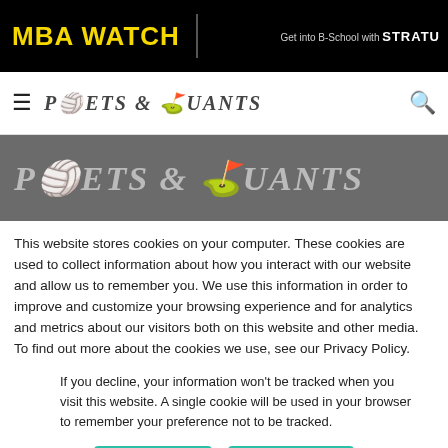MBA WATCH | Get into B-School with STRATU
[Figure (logo): Poets & Quants navigation logo with beach ball icons]
[Figure (logo): Poets & Quants hero banner logo on grey background]
This website stores cookies on your computer. These cookies are used to collect information about how you interact with our website and allow us to remember you. We use this information in order to improve and customize your browsing experience and for analytics and metrics about our visitors both on this website and other media. To find out more about the cookies we use, see our Privacy Policy.
If you decline, your information won’t be tracked when you visit this website. A single cookie will be used in your browser to remember your preference not to be tracked.